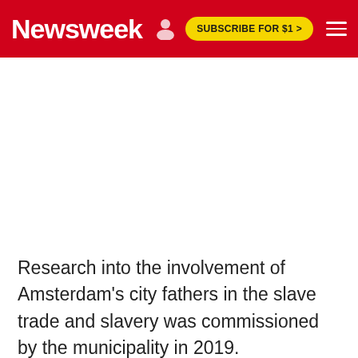Newsweek | SUBSCRIBE FOR $1 >
Research into the involvement of Amsterdam's city fathers in the slave trade and slavery was commissioned by the municipality in 2019.